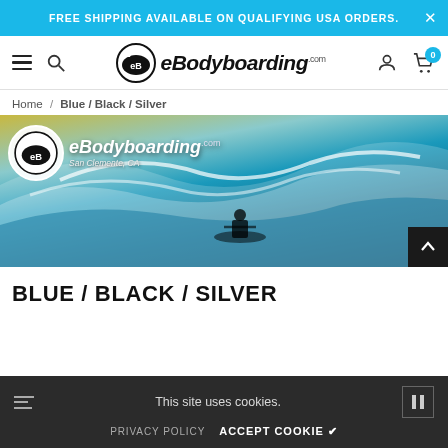FREE SHIPPING AVAILABLE ON QUALIFYING USA ORDERS.
[Figure (logo): eBodyboarding.com website navigation bar with hamburger menu, search icon, logo, user icon, and cart icon with badge showing 0]
Home / Blue / Black / Silver
[Figure (photo): eBodyboarding.com hero banner image showing a surfer riding a large teal wave with the eBodyboarding.com logo and San Clemente, CA text overlay, with a scroll-up button in the bottom right]
BLUE / BLACK / SILVER
This site uses cookies.
PRIVACY POLICY  ACCEPT COOKIE ✔